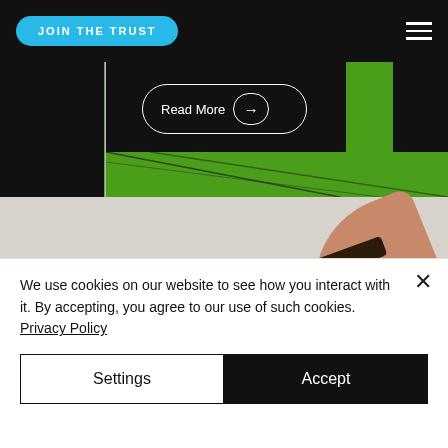JOIN THE TRUST
[Figure (screenshot): Website screenshot showing a football net against green background with black overlays, a 'Read More' button with arrow, and a partial view of a person's arm wearing a dark watch band with 'Sky Blue Trust:' text visible]
We use cookies on our website to see how you interact with it. By accepting, you agree to our use of such cookies. Privacy Policy
Settings
Accept